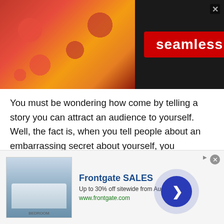[Figure (screenshot): Seamless food delivery advertisement banner with pizza image on left, 'seamless' red badge in center, and 'ORDER NOW' box with white border on right, all on dark background]
You must be wondering how come by telling a story you can attract an audience to yourself. Well, the fact is, when you tell people about an embarrassing secret about yourself, you somehow invisibly create a bond with them.
People start to think about your embarrassing story and consider you as an emotionally strong person. Because you have been through so many ups and downs in your life. Further it gives people an image
[Figure (screenshot): Frontgate SALES advertisement banner at bottom. Shows a bedroom with bed. Text: 'Frontgate SALES', 'Up to 30% off sitewide from August 23-25', 'www.frontgate.com'. Blue circular navigation arrow button on right.]